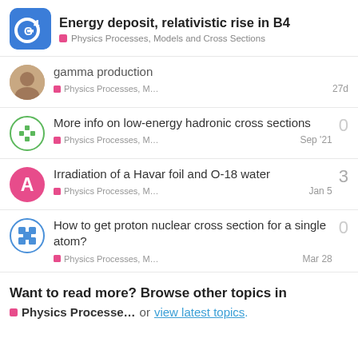Energy deposit, relativistic rise in B4 — Physics Processes, Models and Cross Sections
gamma production — Physics Processes, M... — 27d — replies: (unlisted)
More info on low-energy hadronic cross sections — Physics Processes, M... — Sep '21 — replies: 0
Irradiation of a Havar foil and O-18 water — Physics Processes, M... — Jan 5 — replies: 3
How to get proton nuclear cross section for a single atom? — Physics Processes, M... — Mar 28 — replies: 0
Want to read more? Browse other topics in Physics Processe... or view latest topics.